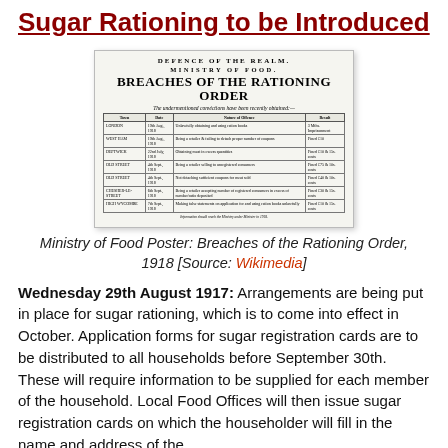Sugar Rationing to be Introduced
[Figure (photo): Photograph of a Ministry of Food poster titled 'Defence of the Realm — Breaches of the Rationing Order', listing convictions for rationing violations, dated 1918.]
Ministry of Food Poster: Breaches of the Rationing Order, 1918 [Source: Wikimedia]
Wednesday 29th August 1917: Arrangements are being put in place for sugar rationing, which is to come into effect in October. Application forms for sugar registration cards are to be distributed to all households before September 30th. These will require information to be supplied for each member of the household. Local Food Offices will then issue sugar registration cards on which the householder will fill in the name and address of the